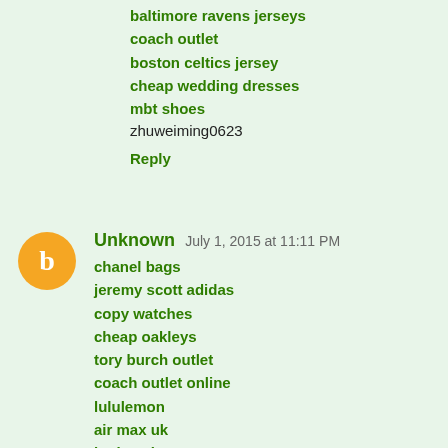baltimore ravens jerseys
coach outlet
boston celtics jersey
cheap wedding dresses
mbt shoes
zhuweiming0623
Reply
Unknown  July 1, 2015 at 11:11 PM
chanel bags
jeremy scott adidas
copy watches
cheap oakleys
tory burch outlet
coach outlet online
lululemon
air max uk
louis vuitton
michael kors
concord 13
jordan 11s